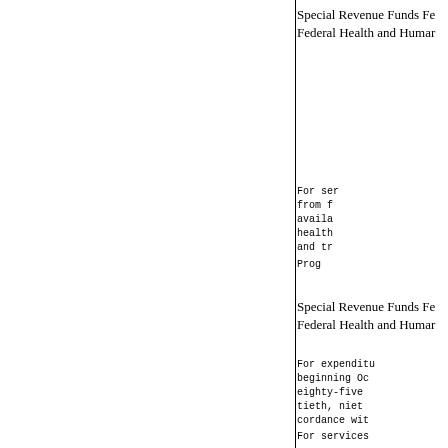Special Revenue Funds Fe Federal Health and Humar
For expenditures related to fede beginning October first, ninetee eighty-five, in accordance with
For ser from f avila health and tr
Prog
Special Revenue Funds Fe Federal Health and Humar
For expenditu beginning Oc eighty-five tieth, niet cordance wit
For services